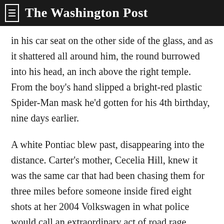The Washington Post
in his car seat on the other side of the glass, and as it shattered all around him, the round burrowed into his head, an inch above the right temple. From the boy’s hand slipped a bright-red plastic Spider-Man mask he’d gotten for his 4th birthday, nine days earlier.
A white Pontiac blew past, disappearing into the distance. Carter’s mother, Cecelia Hill, knew it was the same car that had been chasing them for three miles before someone inside fired eight shots at her 2004 Volkswagen in what police would call an extraordinary act of road rage.
No one — and before I get into the back… (continues)